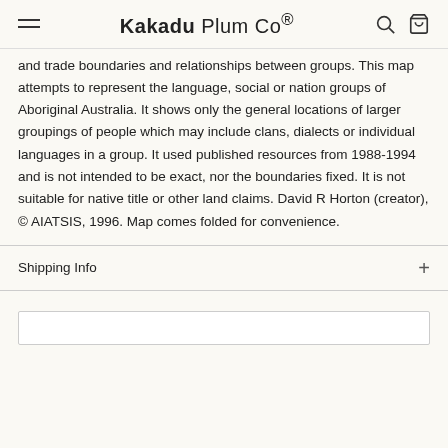Kakadu Plum Co®
and trade boundaries and relationships between groups. This map attempts to represent the language, social or nation groups of Aboriginal Australia. It shows only the general locations of larger groupings of people which may include clans, dialects or individual languages in a group. It used published resources from 1988-1994 and is not intended to be exact, nor the boundaries fixed. It is not suitable for native title or other land claims. David R Horton (creator), © AIATSIS, 1996. Map comes folded for convenience.
Shipping Info